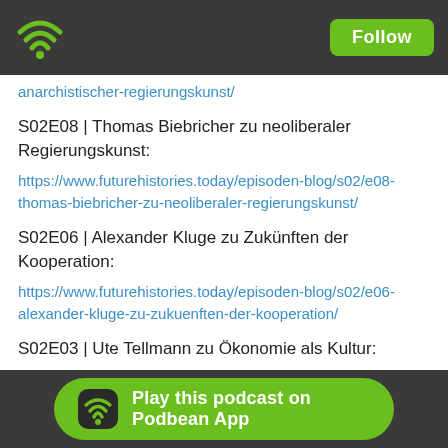Follow
anarchistischer-regierungskunst/
S02E08 | Thomas Biebricher zu neoliberaler Regierungskunst:
https://www.futurehistories.today/episoden-blog/s02/e08-thomas-biebricher-zu-neoliberaler-regierungskunst/
S02E06 | Alexander Kluge zu Zukünften der Kooperation:
https://www.futurehistories.today/episoden-blog/s02/e06-alexander-kluge-zu-zukuenften-der-kooperation/
S02E03 | Ute Tellmann zu Ökonomie als Kultur:
https://www.futurehistories.today/episoden-
Play this podcast on Podbean App